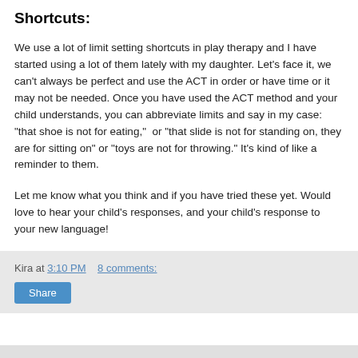Shortcuts:
We use a lot of limit setting shortcuts in play therapy and I have started using a lot of them lately with my daughter. Let's face it, we can't always be perfect and use the ACT in order or have time or it may not be needed. Once you have used the ACT method and your child understands, you can abbreviate limits and say in my case: "that shoe is not for eating,"  or "that slide is not for standing on, they are for sitting on" or "toys are not for throwing." It's kind of like a reminder to them.
Let me know what you think and if you have tried these yet. Would love to hear your child's responses, and your child's response to your new language!
Kira at 3:10 PM    8 comments: